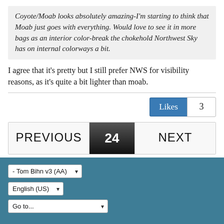Coyote/Moab looks absolutely amazing-I'm starting to think that Moab just goes with everything. Would love to see it in more bags as an interior color-break the chokehold Northwest Sky has on internal colorways a bit.
I agree that it's pretty but I still prefer NWS for visibility reasons, as it's quite a bit lighter than moab.
Likes 3
PREVIOUS 24 NEXT
- Tom Bihn v3 (AA) English (US) Go to...